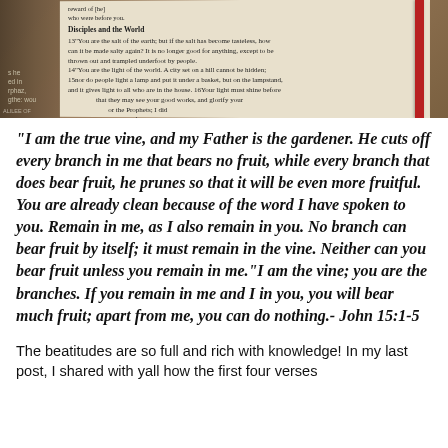[Figure (photo): Close-up photograph of an open Bible showing Matthew chapter 5 text including 'Disciples and the World' section with verses about salt and light, with a red ribbon bookmark and wooden background]
"I am the true vine, and my Father is the gardener. He cuts off every branch in me that bears no fruit, while every branch that does bear fruit, he prunes so that it will be even more fruitful. You are already clean because of the word I have spoken to you. Remain in me, as I also remain in you. No branch can bear fruit by itself; it must remain in the vine. Neither can you bear fruit unless you remain in me."I am the vine; you are the branches. If you remain in me and I in you, you will bear much fruit; apart from me, you can do nothing.- John 15:1-5
The beatitudes are so full and rich with knowledge! In my last post, I shared with yall how the first four verses...